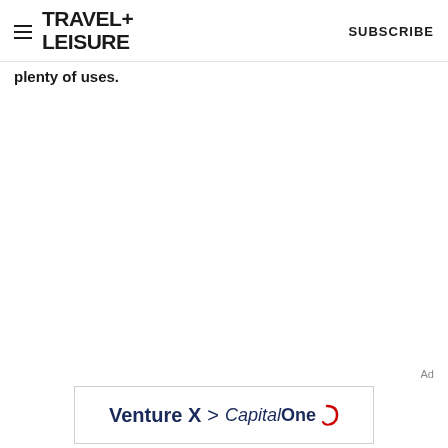TRAVEL+ LEISURE | SUBSCRIBE
plenty of uses.
[Figure (other): Capital One Venture X advertisement banner showing 'Venture X > CapitalOne' logo]
Ad